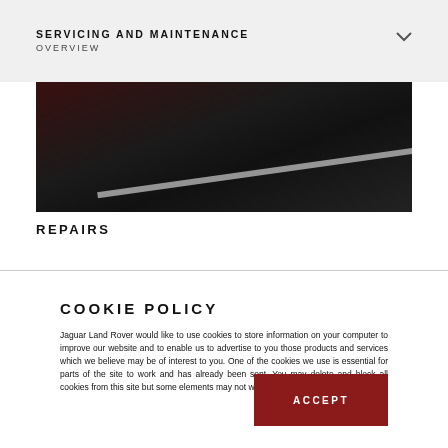SERVICING AND MAINTENANCE
OVERVIEW
[Figure (photo): Close-up photo of a dark surface (likely a car hood/body) with a white diagonal stripe, and partial view of a dark red car element at the top.]
REPAIRS
COOKIE POLICY
Jaguar Land Rover would like to use cookies to store information on your computer to improve our website and to enable us to advertise to you those products and services which we believe may be of interest to you. One of the cookies we use is essential for parts of the site to work and has already been sent. You may delete and block all cookies from this site but some elements may not work correctly.
ACCEPT